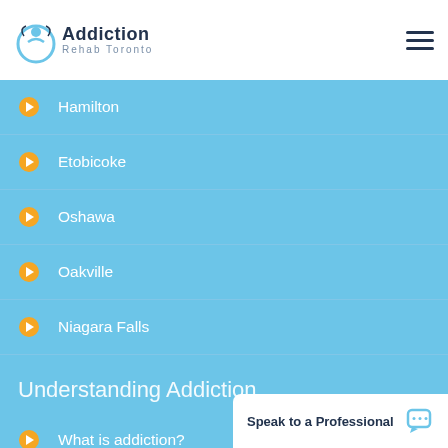Addiction Rehab Toronto
Hamilton
Etobicoke
Oshawa
Oakville
Niagara Falls
Understanding Addiction
What is addiction?
Addiction Assessment Tools
Signs of Addiction
Speak to a Professional